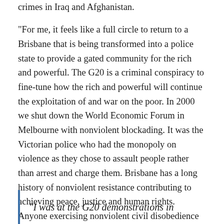crimes in Iraq and Afghanistan.

“For me, it feels like a full circle to return to a Brisbane that is being transformed into a police state to provide a gated community for the rich and powerful. The G20 is a criminal conspiracy to fine-tune how the rich and powerful will continue the exploitation of and war on the poor. In 2000 we shut down the World Economic Forum in Melbourne with nonviolent blockading. It was the Victorian police who had the monopoly on violence as they chose to assault people rather than arrest and charge them. Brisbane has a long history of nonviolent resistance contributing to achieving peace, justice and human rights. Anyone exercising nonviolent civil disobedience this week against the G20 should be respected and supported.
“I was at the G20 demonstrations in